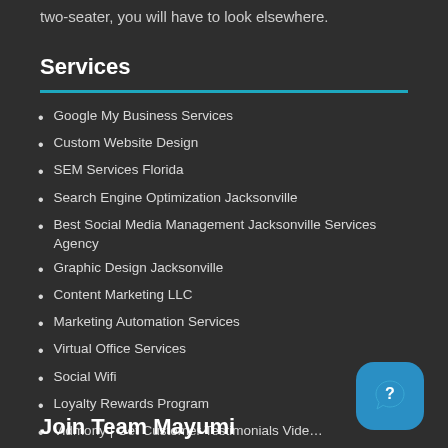two-seater, you will have to look elsewhere.
Services
Google My Business Services
Custom Website Design
SEM Services Florida
Search Engine Optimization Jacksonville
Best Social Media Management Jacksonville Services Agency
Graphic Design Jacksonville
Content Marketing LLC
Marketing Automation Services
Virtual Office Services
Social Wifi
Loyalty Rewards Program
Vidmony | Get Customer Testimonials Video
Join Team Mayumi